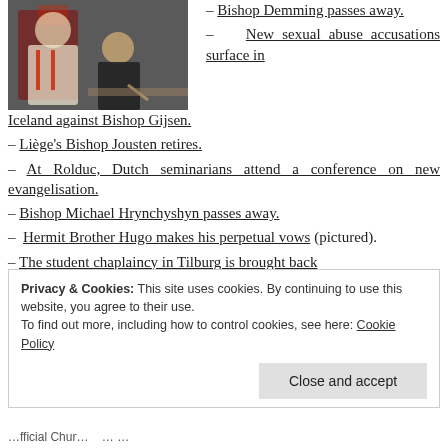[Figure (photo): Photo of religious figures in ceremonial robes at what appears to be a church event, with a person in black signing a document in the foreground.]
– Bishop Demming passes away.
– New sexual abuse accusations surface in Iceland against Bishop Gijsen.
– Liège's Bishop Jousten retires.
– At Rolduc, Dutch seminarians attend a conference on new evangelisation.
– Bishop Michael Hrynchyshyn passes away.
– Hermit Brother Hugo makes his perpetual vows (pictured).
– The student chaplaincy in Tilburg is brought back
Privacy & Cookies: This site uses cookies. By continuing to use this website, you agree to their use.
To find out more, including how to control cookies, see here: Cookie Policy
Close and accept